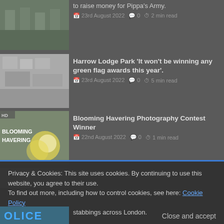[Figure (photo): Thumbnail image of people outdoors, partial crop at top]
to raise money for Pippa's Army.
23rd August 2022  0  2 min read
[Figure (photo): Thumbnail image of rubble or debris for Harrow Lodge Park article]
Harrow Lodge Park 'It won't be winning any green flag awards this year'.
23rd August 2022  0  5 min read
[Figure (photo): Thumbnail with Blooming Havering text overlay and flower image]
Blooming Havering Photography Contest Winner
22nd August 2022  0  1 min read
[Figure (photo): Partial thumbnail of car/police scene]
VIDEO: Anti Knife crime campaigner pays
Privacy & Cookies: This site uses cookies. By continuing to use this website, you agree to their use.
To find out more, including how to control cookies, see here: Cookie Policy
Close and accept
[Figure (photo): Bottom partial police thumbnail with OLICE text]
stabbings across London.